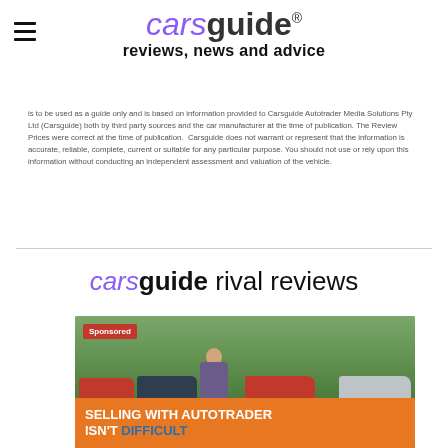carsguide reviews, news and advice
is to be used as a guide only and is based on information provided to Carsguide Autotrader Media Solutions Pty Ltd (Carsguide) both by third party sources and the car manufacturer at the time of publication. The Review Prices were correct at the time of publication. Carsguide does not warrant or represent that the information is accurate, reliable, complete, current or suitable for any particular purpose. You should not use or rely upon this information without conducting an independent assessment and valuation of the vehicle.
carsguide rival reviews
[Figure (photo): Sponsored video thumbnail showing a man standing in front of four SUV cars in a car park with trees in background. Bottom overlay reads SELLING WITH AUTOTRADER ISN'T DIFFICULT in white and blue text on orange background. Sponsored badge in top-left corner.]